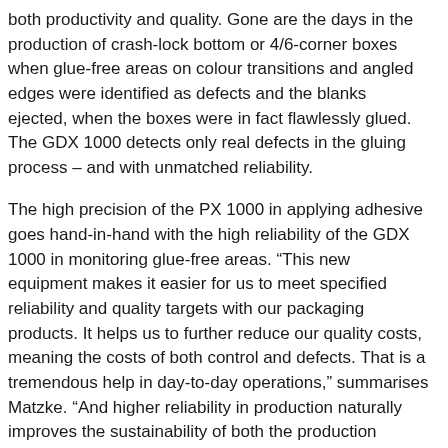both productivity and quality. Gone are the days in the production of crash-lock bottom or 4/6-corner boxes when glue-free areas on colour transitions and angled edges were identified as defects and the blanks ejected, when the boxes were in fact flawlessly glued. The GDX 1000 detects only real defects in the gluing process – and with unmatched reliability.
The high precision of the PX 1000 in applying adhesive goes hand-in-hand with the high reliability of the GDX 1000 in monitoring glue-free areas. “This new equipment makes it easier for us to meet specified reliability and quality targets with our packaging products. It helps us to further reduce our quality costs, meaning the costs of both control and defects. That is a tremendous help in day-to-day operations,” summarises Matzke. “And higher reliability in production naturally improves the sustainability of both the production process and the packaging.”
Focus on user-friendliness